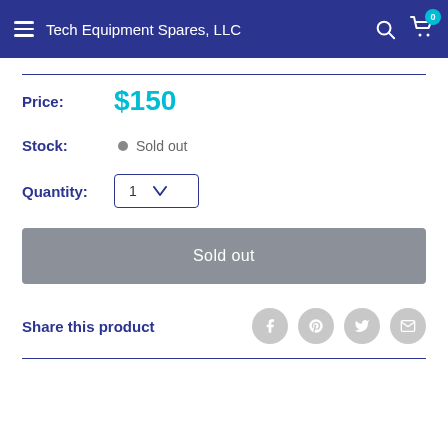Tech Equipment Spares, LLC
Price: $150
Stock: Sold out
Quantity: 1
Sold out
Share this product